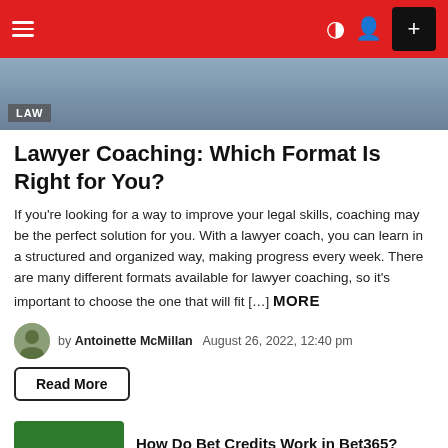Navigation bar with menu, dark mode, profile, and add button
[Figure (photo): Hero image of a desk/legal setting with a LAW badge overlay]
Lawyer Coaching: Which Format Is Right for You?
If you're looking for a way to improve your legal skills, coaching may be the perfect solution for you. With a lawyer coach, you can learn in a structured and organized way, making progress every week. There are many different formats available for lawyer coaching, so it's important to choose the one that will fit […] MORE
by Antoinette McMillan  August 26, 2022, 12:40 pm
Read More
[Figure (logo): bet365 logo with yellow text on green background]
How Do Bet Credits Work in Bet365?
Read More
[Figure (photo): Thumbnail image for sports betting article]
Live/In-Game Sports Betting Strategies Al...